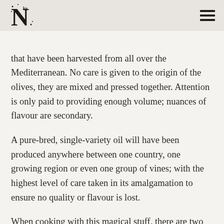N [logo] [hamburger menu]
that have been harvested from all over the Mediterranean. No care is given to the origin of the olives, they are mixed and pressed together. Attention is only paid to providing enough volume; nuances of flavour are secondary.
A pure-bred, single-variety oil will have been produced anywhere between one country, one growing region or even one group of vines; with the highest level of care taken in its amalgamation to ensure no quality or flavour is lost.
When cooking with this magical stuff, there are two properties of oils that matter most in terms